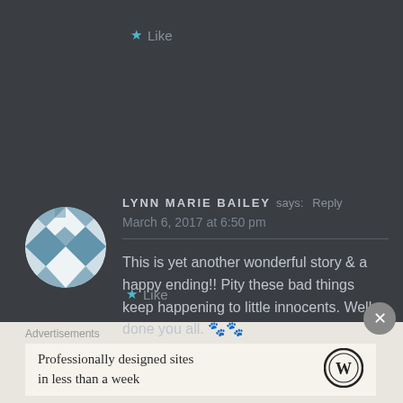★ Like
[Figure (illustration): Circular avatar with blue and white diamond/checkerboard pattern quilt design]
LYNN MARIE BAILEY says: Reply
March 6, 2017 at 6:50 pm
This is yet another wonderful story & a happy ending!! Pity these bad things keep happening to little innocents. Well done you all. 🐾🐾 💕💕
★ Like
Advertisements
Professionally designed sites in less than a week